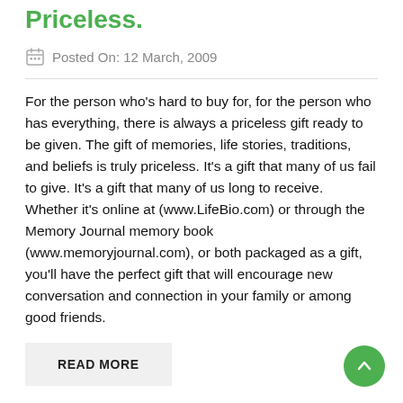Priceless.
Posted On: 12 March, 2009
For the person who's hard to buy for, for the person who has everything, there is always a priceless gift ready to be given. The gift of memories, life stories, traditions, and beliefs is truly priceless. It's a gift that many of us fail to give. It's a gift that many of us long to receive. Whether it's online at (www.LifeBio.com) or through the Memory Journal memory book (www.memoryjournal.com), or both packaged as a gift, you'll have the perfect gift that will encourage new conversation and connection in your family or among good friends.
READ MORE